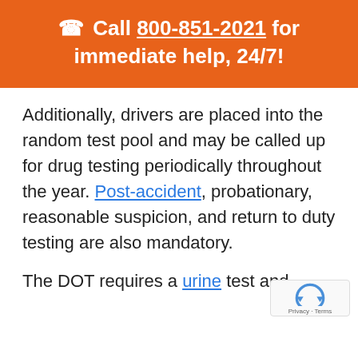📞 Call 800-851-2021 for immediate help, 24/7!
Additionally, drivers are placed into the random test pool and may be called up for drug testing periodically throughout the year. Post-accident, probationary, reasonable suspicion, and return to duty testing are also mandatory.
The DOT requires a urine test and